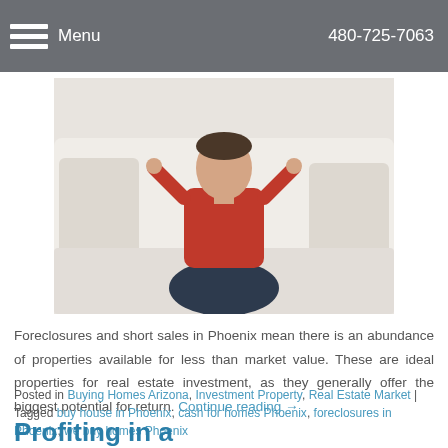Menu  480-725-7063
[Figure (photo): Person in a red shirt and jeans sitting on a white couch with arms raised behind head]
Foreclosures and short sales in Phoenix mean there is an abundance of properties available for less than market value. These are ideal properties for real estate investment, as they generally offer the biggest potential for return. Continue reading →
Posted in Buying Homes Arizona, Investment Property, Real Estate Market | Tagged buy house in Phoenix, cash for homes Phoenix, foreclosures in Phoenix, we buy homes Phoenix
Profiting in a Rebounding Real